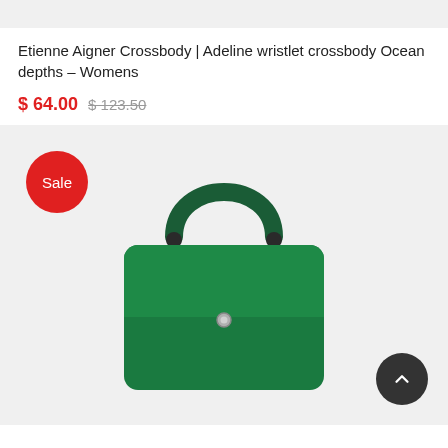Etienne Aigner Crossbody | Adeline wristlet crossbody Ocean depths – Womens
$ 64.00  $ 123.50
[Figure (photo): Green Etienne Aigner Adeline wristlet crossbody bag on light grey background, with a red Sale badge in the top left corner and a scroll-up button in the bottom right corner.]